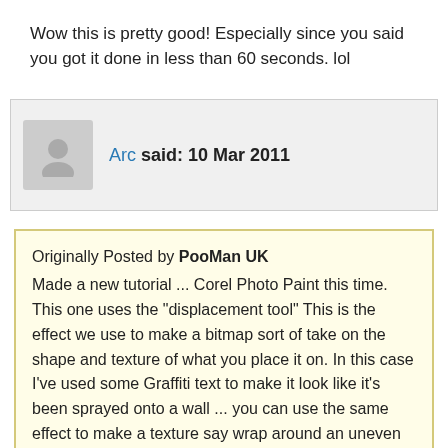Wow this is pretty good! Especially since you said you got it done in less than 60 seconds. lol
Arc said: 10 Mar 2011
Originally Posted by PooMan UK
Made a new tutorial ... Corel Photo Paint this time. This one uses the "displacement tool" This is the effect we use to make a bitmap sort of take on the shape and texture of what you place it on. In this case I've used some Graffiti text to make it look like it's been sprayed onto a wall ... you can use the same effect to make a texture say wrap around an uneven object like a face etc. (this can also be done in PS